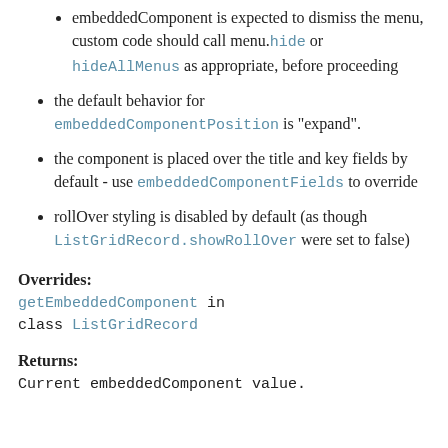embeddedComponent is expected to dismiss the menu, custom code should call menu.hide or hideAllMenus as appropriate, before proceeding
the default behavior for embeddedComponentPosition is "expand".
the component is placed over the title and key fields by default - use embeddedComponentFields to override
rollOver styling is disabled by default (as though ListGridRecord.showRollOver were set to false)
Overrides:
getEmbeddedComponent in class ListGridRecord
Returns:
Current embeddedComponent value.